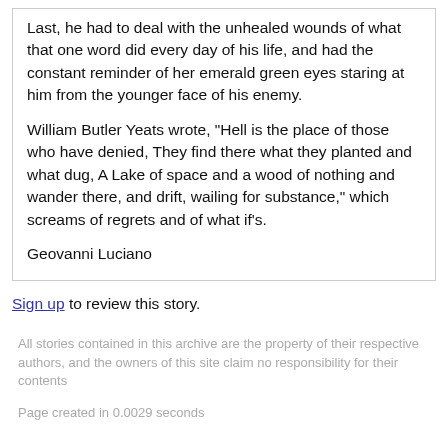Last, he had to deal with the unhealed wounds of what that one word did every day of his life, and had the constant reminder of her emerald green eyes staring at him from the younger face of his enemy.
William Butler Yeats wrote, "Hell is the place of those who have denied, They find there what they planted and what dug, A Lake of space and a wood of nothing and wander there, and drift, wailing for substance," which screams of regrets and of what if's.
Geovanni Luciano
Sign up to review this story.
All stories contained in this archive are the property of their respective authors, and the owners of this site claim no responsibility for their contents
Page created in 0.0029 seconds